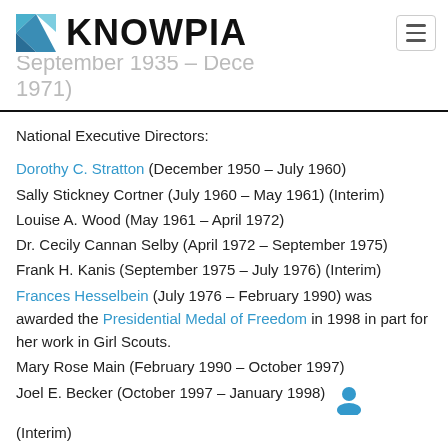KNOWPIA
National Executive Directors:
Dorothy C. Stratton (December 1950 – July 1960)
Sally Stickney Cortner (July 1960 – May 1961) (Interim)
Louise A. Wood (May 1961 – April 1972)
Dr. Cecily Cannan Selby (April 1972 – September 1975)
Frank H. Kanis (September 1975 – July 1976) (Interim)
Frances Hesselbein (July 1976 – February 1990) was awarded the Presidential Medal of Freedom in 1998 in part for her work in Girl Scouts.
Mary Rose Main (February 1990 – October 1997)
Joel E. Becker (October 1997 – January 1998) (Interim)
Marsha Johnson Evans (January 1998 – July 2002):